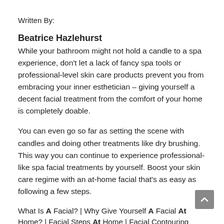Written By:
Beatrice Hazlehurst
While your bathroom might not hold a candle to a spa experience, don't let a lack of fancy spa tools or professional-level skin care products prevent you from embracing your inner esthetician – giving yourself a decent facial treatment from the comfort of your home is completely doable.
You can even go so far as setting the scene with candles and doing other treatments like dry brushing. This way you can continue to experience professional-like spa facial treatments by yourself. Boost your skin care regime with an at-home facial that's as easy as following a few steps.
What Is A Facial? | Why Give Yourself A Facial At Home? | Facial Steps At Home | Facial Contouring